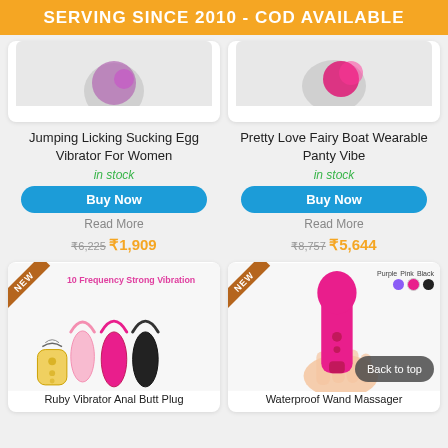SERVING SINCE 2010 - COD AVAILABLE
[Figure (photo): Product image for Jumping Licking Sucking Egg Vibrator For Women (partially visible, pink/purple product on white background)]
Jumping Licking Sucking Egg Vibrator For Women
in stock
Buy Now
Read More
₹6,225 ₹1,909
[Figure (photo): Product image for Pretty Love Fairy Boat Wearable Panty Vibe (partially visible, pink/hot pink product on white background)]
Pretty Love Fairy Boat Wearable Panty Vibe
in stock
Buy Now
Read More
₹8,757 ₹5,644
[Figure (photo): Product image for Ruby Vibrator Anal Butt Plug - three vibrators in pink light, pink dark, and black with text '10 Frequency Strong Vibration']
Ruby Vibrator Anal Butt Plug
[Figure (photo): Product image for Waterproof Wand Massager - pink wand massager held in hand, with color swatches for Purple, Pink, Black and 'Back to top' button]
Waterproof Wand Massager